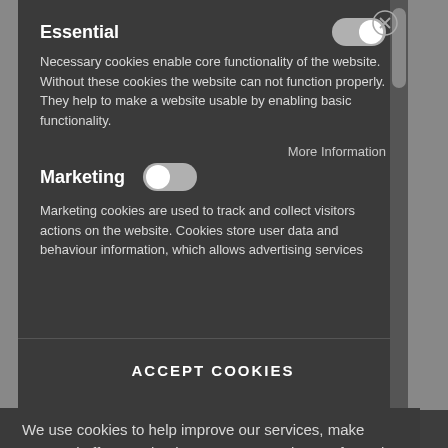Essential
Necessary cookies enable core functionality of the website. Without these cookies the website can not function properly. They help to make a website usable by enabling basic functionality.
More Information
Marketing
Marketing cookies are used to track and collect visitors actions on the website. Cookies store user data and behaviour information, which allows advertising services
ACCEPT COOKIES
We use cookies to help improve our services, make personal offers, and enhance your experience. If you do not accept optional cookies below, your experience may be affected. If you want to know more, please read the Cookie Policy